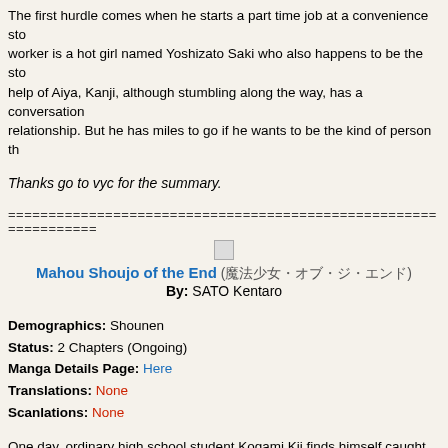The first hurdle comes when he starts a part time job at a convenience sto... worker is a hot girl named Yoshizato Saki who also happens to be the sto... help of Aiya, Kanji, although stumbling along the way, has a conversation ... relationship. But he has miles to go if he wants to be the kind of person th...
Thanks go to vyc for the summary.
===========================================================
[Figure (illustration): Small image icon placeholder]
Mahou Shoujo of the End (魔法少女・オブ・ジ・エンド) By: SATO Kentaro
Demographics: Shounen
Status: 2 Chapters (Ongoing)
Manga Details Page: Here
Translations: None
Scanlations: None
One day, ordinary high school student Kogami Kii finds himself caught up ... apocalypse, involving 'magic girls.' While idly looking out of the school win... a little girl hitting a teacher, causing his head to explode violently. Convinc... the restroom to get his act together.
Unfortunately, its not a dream, and he arrives to find the creepy little girl re... she slaughters his friends and classmates. Soon, Kii and his childhood frie... called Tsukune-- are witness to the resurrection of their friends' corpses in ... mob crying the single word "magical." Now Kii and Tsukune must try to en... and try to find out what has happened to their world.
Thanks go to tothysdust for the summary.